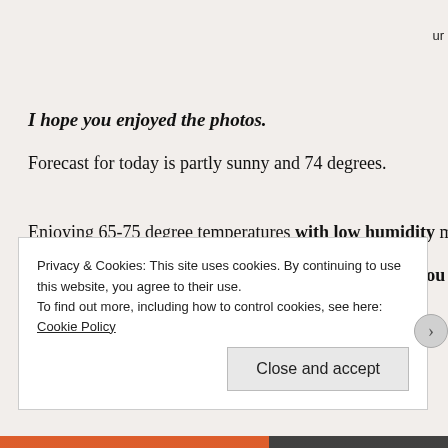I hope you enjoyed the photos.
Forecast for today is partly sunny and 74 degrees.
Enjoying 65-75 degree temperatures with low humidity most of the
“Life is like riding a bicycle. To keep your balance you must kee
Privacy & Cookies: This site uses cookies. By continuing to use this website, you agree to their use. To find out more, including how to control cookies, see here: Cookie Policy
Close and accept